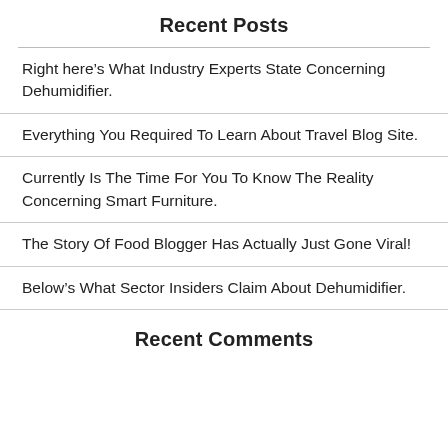Recent Posts
Right here’s What Industry Experts State Concerning Dehumidifier.
Everything You Required To Learn About Travel Blog Site.
Currently Is The Time For You To Know The Reality Concerning Smart Furniture.
The Story Of Food Blogger Has Actually Just Gone Viral!
Below’s What Sector Insiders Claim About Dehumidifier.
Recent Comments